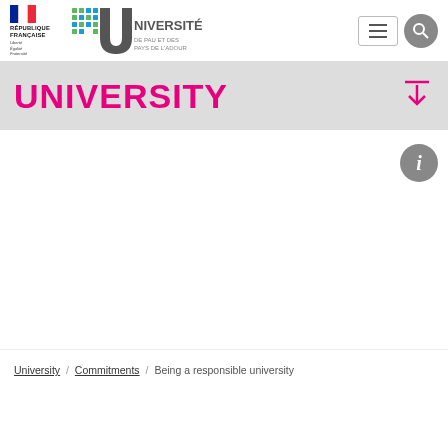[Figure (logo): République Française logo with tricolor flag and text: RÉPUBLIQUE FRANÇAISE, Liberté Égalité Fraternité]
[Figure (logo): Université de Pau et des Pays de l'Adour logo with colorful dot-grid and stylized U shape]
[Figure (other): Hamburger menu button (three horizontal lines in a rectangle)]
[Figure (other): Search button (magnifying glass icon in gray circle)]
UNIVERSITY
[Figure (other): Download arrow icon (arrow pointing down with horizontal bar above, in magenta/pink color)]
[Figure (other): Info button (letter i in gray circle)]
University / Commitments / Being a responsible university